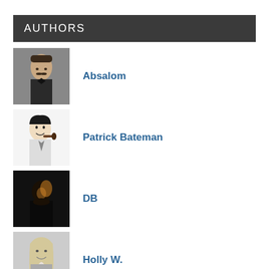AUTHORS
Absalom
Patrick Bateman
DB
Holly W.
Juke Joint Jezebel